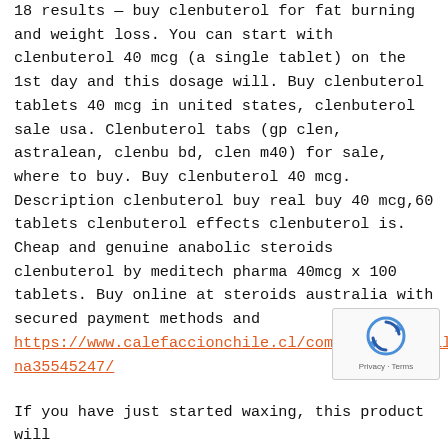18 results — buy clenbuterol for fat burning and weight loss. You can start with clenbuterol 40 mcg (a single tablet) on the 1st day and this dosage will. Buy clenbuterol tablets 40 mcg in united states, clenbuterol sale usa. Clenbuterol tabs (gp clen, astralean, clenbu bd, clen m40) for sale, where to buy. Buy clenbuterol 40 mcg. Description clenbuterol buy real buy 40 mcg,60 tablets clenbuterol effects clenbuterol is. Cheap and genuine anabolic steroids clenbuterol by meditech pharma 40mcg x 100 tablets. Buy online at steroids australia with secured payment methods and https://www.calefaccionchile.cl/community/profile/ana35545247/
[Figure (other): reCAPTCHA logo widget with Privacy and Terms text]
If you have just started waxing, this product will